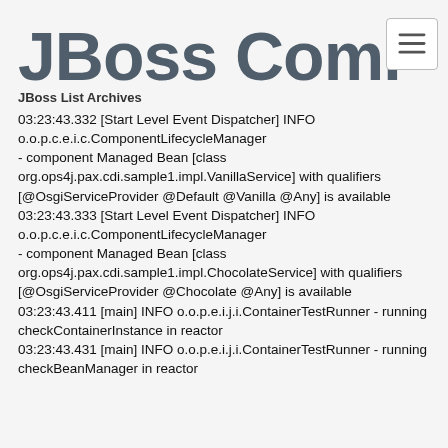JBoss Community / JBoss List Archives
03:23:43.332 [Start Level Event Dispatcher] INFO o.o.p.c.e.i.c.ComponentLifecycleManager
- component Managed Bean [class org.ops4j.pax.cdi.sample1.impl.VanillaService] with qualifiers [@OsgiServiceProvider @Default @Vanilla @Any] is available
03:23:43.333 [Start Level Event Dispatcher] INFO o.o.p.c.e.i.c.ComponentLifecycleManager
- component Managed Bean [class org.ops4j.pax.cdi.sample1.impl.ChocolateService] with qualifiers [@OsgiServiceProvider @Chocolate @Any] is available
03:23:43.411 [main] INFO o.o.p.e.i.j.i.ContainerTestRunner - running checkContainerInstance in reactor
03:23:43.431 [main] INFO o.o.p.e.i.j.i.ContainerTestRunner - running checkBeanManager in reactor